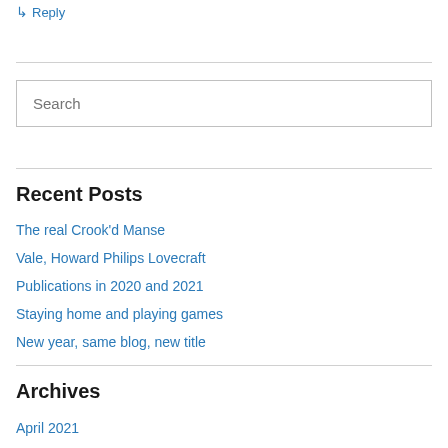↳ Reply
Search
Recent Posts
The real Crook'd Manse
Vale, Howard Philips Lovecraft
Publications in 2020 and 2021
Staying home and playing games
New year, same blog, new title
Archives
April 2021